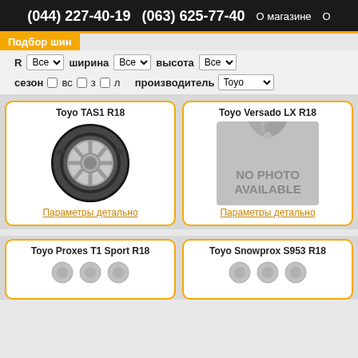(044) 227-40-19   (063) 625-77-40  О магазине  О
Подбор шин
R Все ▼   ширина Все ▼   высота Все ▼
сезон □ вс □ з □ л   производитель Toyo ▼
Toyo TAS1 R18
[Figure (photo): Toyo TAS1 R18 tire product photo]
Параметры детально
Toyo Versado LX R18
[Figure (photo): NO PHOTO AVAILABLE placeholder]
Параметры детально
Toyo Proxes T1 Sport R18
Toyo Snowprox S953 R18